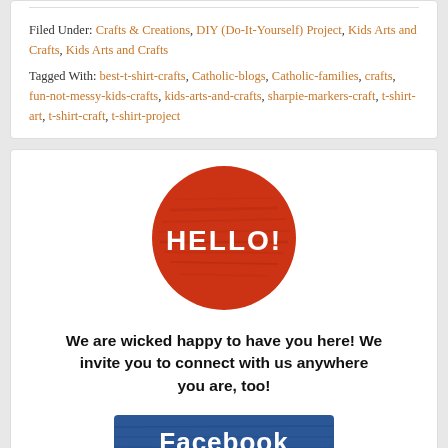Filed Under: Crafts & Creations, DIY (Do-It-Yourself) Project, Kids Arts and Crafts, Kids Arts and Crafts
Tagged With: best-t-shirt-crafts, Catholic-blogs, Catholic-families, crafts, fun-not-messy-kids-crafts, kids-arts-and-crafts, sharpie-markers-craft, t-shirt-art, t-shirt-craft, t-shirt-project
[Figure (illustration): Red circle with wood texture and white bold text reading HELLO!]
We are wicked happy to have you here! We invite you to connect with us anywhere you are, too!
[Figure (illustration): Blue Facebook button with white bold text reading Facebook]